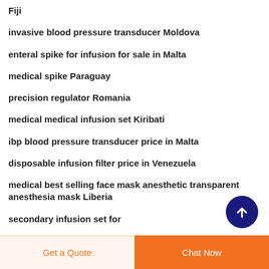Fiji
invasive blood pressure transducer Moldova
enteral spike for infusion for sale in Malta
medical spike Paraguay
precision regulator Romania
medical medical infusion set Kiribati
ibp blood pressure transducer price in Malta
disposable infusion filter price in Venezuela
medical best selling face mask anesthetic transparent anesthesia mask Liberia
secondary infusion set for